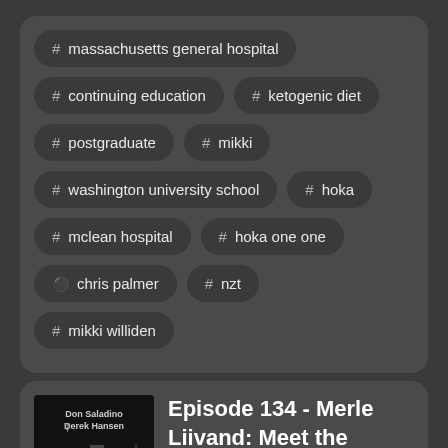# massachusetts general hospital
# continuing education
# ketogenic diet
# postgraduate
# mikki
# washington university school
# hoka
# mclean hospital
# hoka one one
👤 chris palmer
# nzt
# mikki williden
Episode 134 - Merle Liivand: Meet the Marathon Mermaid